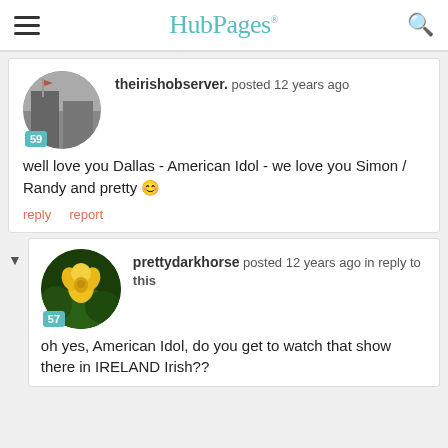HubPages
theirishobserver. posted 12 years ago
well love you Dallas - American Idol - we love you Simon / Randy and pretty 🙂
reply   report
prettydarkhorse posted 12 years ago in reply to this
oh yes, American Idol, do you get to watch that show there in IRELAND Irish??